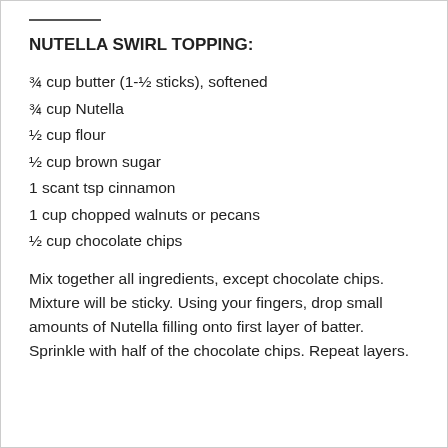NUTELLA SWIRL TOPPING:
¾ cup butter (1-½ sticks), softened
¾ cup Nutella
½ cup flour
½ cup brown sugar
1 scant tsp cinnamon
1 cup chopped walnuts or pecans
½ cup chocolate chips
Mix together all ingredients, except chocolate chips. Mixture will be sticky. Using your fingers, drop small amounts of Nutella filling onto first layer of batter. Sprinkle with half of the chocolate chips. Repeat layers.